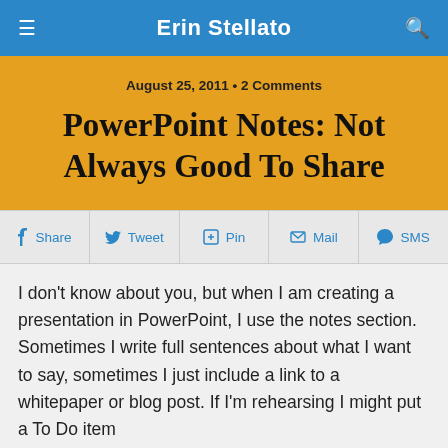Erin Stellato
August 25, 2011 • 2 Comments
PowerPoint Notes: Not Always Good To Share
Share  Tweet  Pin  Mail  SMS
I don't know about you, but when I am creating a presentation in PowerPoint, I use the notes section. Sometimes I write full sentences about what I want to say, sometimes I just include a link to a whitepaper or blog post.  If I'm rehearsing I might put a To Do item